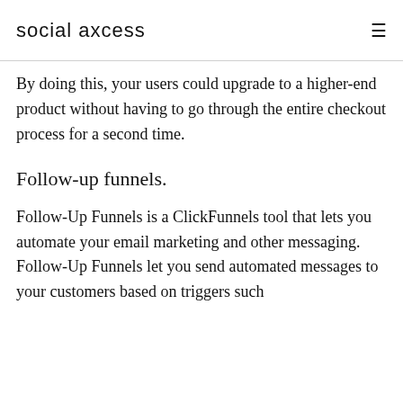social axcess
By doing this, your users could upgrade to a higher-end product without having to go through the entire checkout process for a second time.
Follow-up funnels.
Follow-Up Funnels is a ClickFunnels tool that lets you automate your email marketing and other messaging. Follow-Up Funnels let you send automated messages to your customers based on triggers such